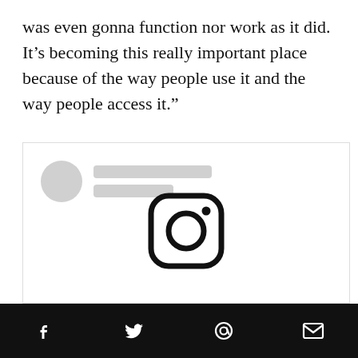was even gonna function nor work as it did. It’s becoming this really important place because of the way people use it and the way people access it.”
[Figure (screenshot): A social media post card placeholder with a skeleton loader (grey circle avatar and grey line placeholders for username) and a large Instagram logo icon centered in the card body.]
Social share icons: Facebook, Twitter, Pinterest, Email